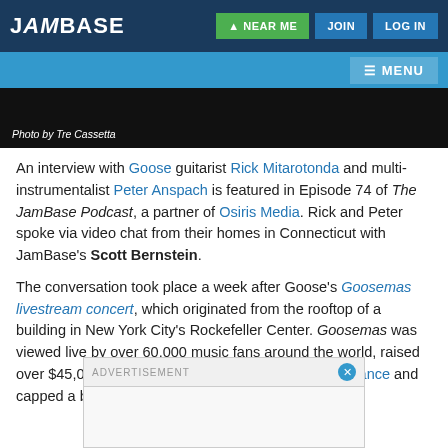JamBase | NEAR ME | JOIN | LOG IN
MENU
[Figure (photo): Dark photo strip with caption 'Photo by Tre Cassetta']
Photo by Tre Cassetta
An interview with Goose guitarist Rick Mitarotonda and multi-instrumentalist Peter Anspach is featured in Episode 74 of The JamBase Podcast, a partner of Osiris Media. Rick and Peter spoke via video chat from their homes in Connecticut with JamBase's Scott Bernstein.
The conversation took place a week after Goose's Goosemas livestream concert, which originated from the rooftop of a building in New York City's Rockefeller Center. Goosemas was viewed live by over 60,000 music fans around the world, raised over $45,000 for Save Our Stages and Conscious Alliance and capped a big year for the group.
ADVERTISEMENT